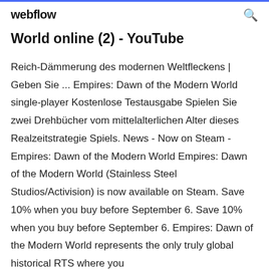webflow
World online (2) - YouTube
Reich-Dämmerung des modernen Weltfleckens | Geben Sie ... Empires: Dawn of the Modern World single-player Kostenlose Testausgabe Spielen Sie zwei Drehbücher vom mittelalterlichen Alter dieses Realzeitstrategie Spiels. News - Now on Steam - Empires: Dawn of the Modern World Empires: Dawn of the Modern World (Stainless Steel Studios/Activision) is now available on Steam. Save 10% when you buy before September 6. Save 10% when you buy before September 6. Empires: Dawn of the Modern World represents the only truly global historical RTS where you